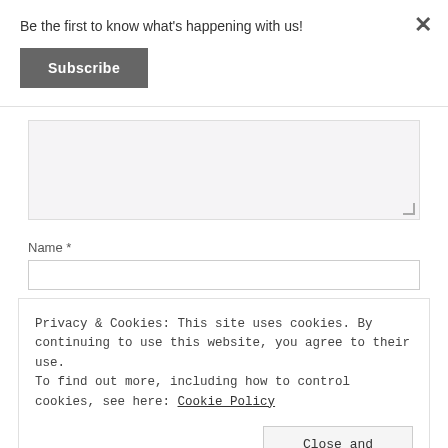Be the first to know what's happening with us!
Subscribe
Name *
Privacy & Cookies: This site uses cookies. By continuing to use this website, you agree to their use.
To find out more, including how to control cookies, see here: Cookie Policy
Close and accept
Website